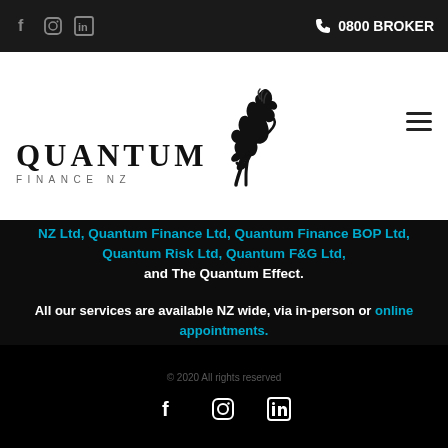f  in  0800 BROKER
[Figure (logo): Quantum Finance NZ logo with rearing horse and text QUANTUM FINANCE NZ]
NZ Ltd, Quantum Finance Ltd, Quantum Finance BOP Ltd, Quantum Risk Ltd, Quantum F&G Ltd, and The Quantum Effect.
All our services are available NZ wide, via in-person or online appointments.
© 2020 All rights reserved